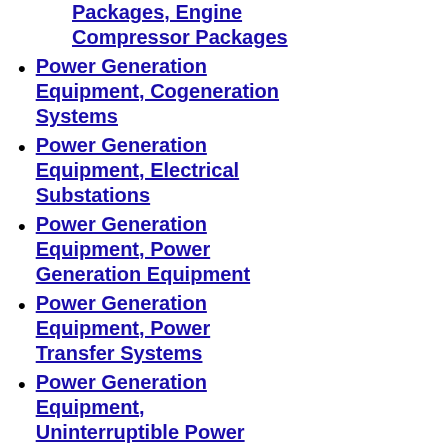Packages, Engine Compressor Packages
Power Generation Equipment, Cogeneration Systems
Power Generation Equipment, Electrical Substations
Power Generation Equipment, Power Generation Equipment
Power Generation Equipment, Power Transfer Systems
Power Generation Equipment, Uninterruptible Power Systems
Power Generation Equipment, Power Modules, Diesel or Gas
Power Generation Equipment, Power-to-X
Power Plants, Combined-